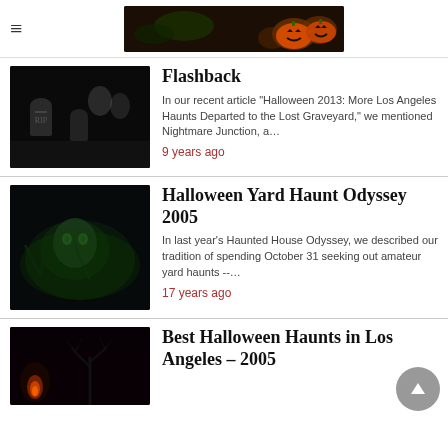Halloween website header with pumpkin banner
Flashback
In our recent article "Halloween 2013: More Los Angeles Haunts Departed to the Lost Graveyard," we mentioned Nightmare Junction, a…
9 years ago
Halloween Yard Haunt Odyssey 2005
In last year's Haunted House Odyssey, we described our tradition of spending October 31 seeking out amateur yard haunts --…
17 years ago
Best Halloween Haunts in Los Angeles – 2005